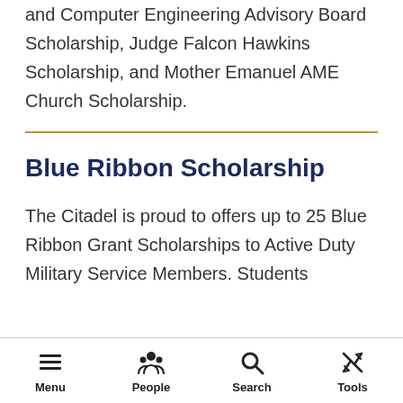and Computer Engineering Advisory Board Scholarship, Judge Falcon Hawkins Scholarship, and Mother Emanuel AME Church Scholarship.
Blue Ribbon Scholarship
The Citadel is proud to offers up to 25 Blue Ribbon Grant Scholarships to Active Duty Military Service Members. Students
Menu  People  Search  Tools